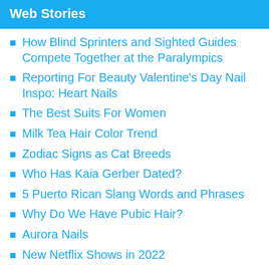Web Stories
How Blind Sprinters and Sighted Guides Compete Together at the Paralympics
Reporting For Beauty Valentine's Day Nail Inspo: Heart Nails
The Best Suits For Women
Milk Tea Hair Color Trend
Zodiac Signs as Cat Breeds
Who Has Kaia Gerber Dated?
5 Puerto Rican Slang Words and Phrases
Why Do We Have Pubic Hair?
Aurora Nails
New Netflix Shows in 2022
7 Decorating Tips to Make Your First Apartment Feel Like a Home